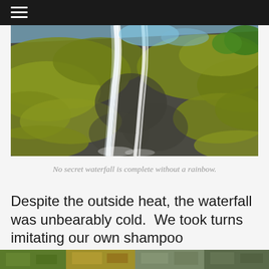≡
[Figure (photo): A waterfall cascading down a large moss-covered rock face, viewed from below looking upward, with green vegetation and sky visible at the top.]
No secret waterfall is complete without a rainbow.
Despite the outside heat, the waterfall was unbearably cold.  We took turns imitating our own shampoo commercials in between hyperventilating.
[Figure (photo): A partial bottom strip showing fragments of outdoor/nature photographs.]